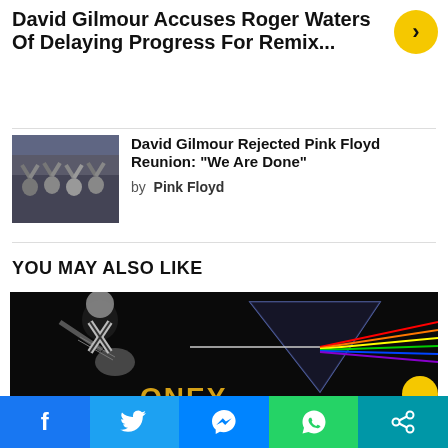David Gilmour Accuses Roger Waters Of Delaying Progress For Remix...
[Figure (photo): Small photo of Pink Floyd band members raising hands]
David Gilmour Rejected Pink Floyd Reunion: "We Are Done"
by Pink Floyd
YOU MAY ALSO LIKE
[Figure (photo): Large dark image of David Gilmour playing guitar with Pink Floyd Dark Side of the Moon prism artwork in background, text 'MONEY' partially visible at bottom]
[Figure (other): Social sharing bar with Facebook, Twitter, Messenger, WhatsApp, and Share buttons]